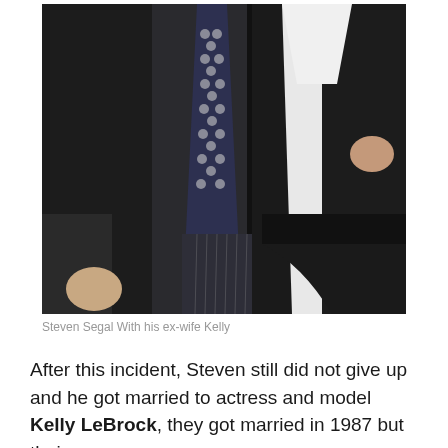[Figure (photo): Steven Segal with his ex-wife Kelly LeBrock, a couple standing close together. The man on the left is wearing a black suit with a patterned tie and pinstriped trousers. The woman on the right is wearing a white top under a black jacket.]
Steven Segal With his ex-wife Kelly
After this incident, Steven still did not give up and he got married to actress and model Kelly LeBrock, they got married in 1987 but their